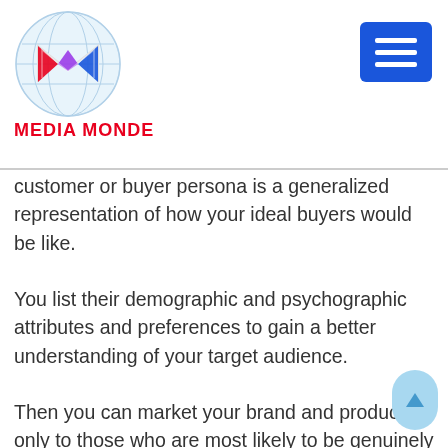MEDIA MONDE
customer or buyer persona is a generalized representation of how your ideal buyers would be like.
You list their demographic and psychographic attributes and preferences to gain a better understanding of your target audience.
Then you can market your brand and products only to those who are most likely to be genuinely interested in them. This means that there will be higher chances of getting leads and conversions. This will help you increase revenue by investing less.
2. Create Useful and